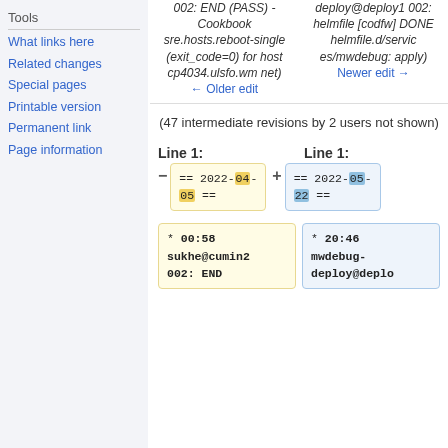Tools
What links here
Related changes
Special pages
Printable version
Permanent link
Page information
002: END (PASS) - Cookbook sre.hosts.reboot-single (exit_code=0) for host cp4034.ulsfo.wmnet)
← Older edit
deploy@deploy1002: helmfile [codfw] DONE helmfile.d/services/mwdebug: apply)
Newer edit →
(47 intermediate revisions by 2 users not shown)
Line 1:
Line 1:
== 2022-04-05 ==
== 2022-05-22 ==
* 00:58 sukhe@cumin2002: END
* 20:46 mwdebug-deploy@deplo